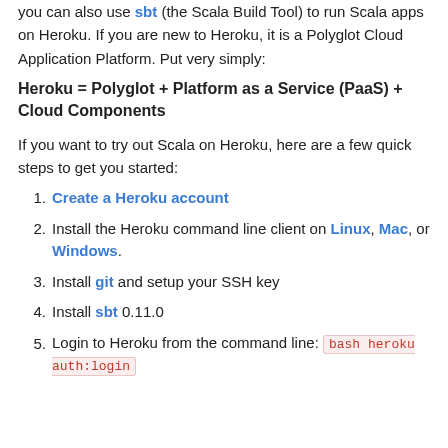you can also use sbt (the Scala Build Tool) to run Scala apps on Heroku. If you are new to Heroku, it is a Polyglot Cloud Application Platform. Put very simply:
Heroku = Polyglot + Platform as a Service (PaaS) + Cloud Components
If you want to try out Scala on Heroku, here are a few quick steps to get you started:
1. Create a Heroku account
2. Install the Heroku command line client on Linux, Mac, or Windows.
3. Install git and setup your SSH key
4. Install sbt 0.11.0
5. Login to Heroku from the command line: bash heroku auth:login